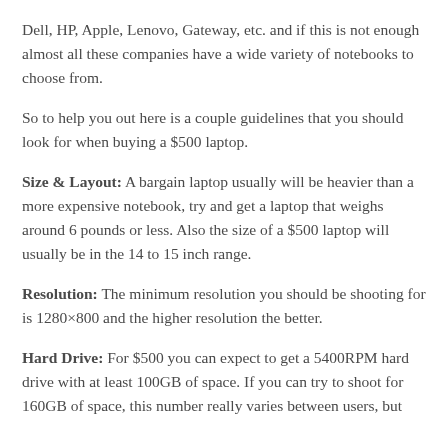Dell, HP, Apple, Lenovo, Gateway, etc. and if this is not enough almost all these companies have a wide variety of notebooks to choose from.
So to help you out here is a couple guidelines that you should look for when buying a $500 laptop.
Size & Layout: A bargain laptop usually will be heavier than a more expensive notebook, try and get a laptop that weighs around 6 pounds or less. Also the size of a $500 laptop will usually be in the 14 to 15 inch range.
Resolution: The minimum resolution you should be shooting for is 1280×800 and the higher resolution the better.
Hard Drive: For $500 you can expect to get a 5400RPM hard drive with at least 100GB of space. If you can try to shoot for 160GB of space, this number really varies between users, but